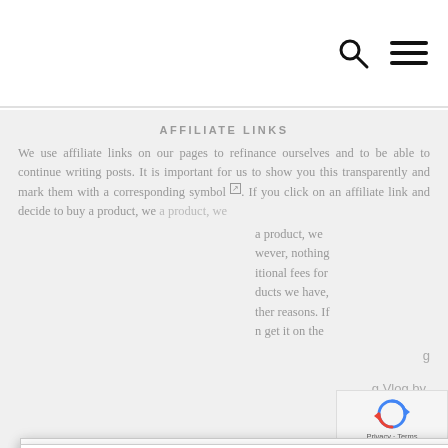AFFILIATE LINKS
We use affiliate links on our pages to refinance ourselves and to be able to continue writing posts. It is important for us to show you this transparently and mark them with a corresponding symbol ☑. If you click on an affiliate link and decide to buy a product, we [however, nothing] [itional fees for] [ducts we have,] [ther reasons. If] [n get it on the]
Diese Website verwendet Cookies, um die Benutzer Freundlichkeit zu verbessern. Wir gehen davon aus, dass du damit einverstanden bist, aber du kannst es auch ablehnen, wenn du möchtest. Settings
Accept
Discard
g
g Vlog by
[Figure (logo): reCAPTCHA logo with Privacy and Terms links]